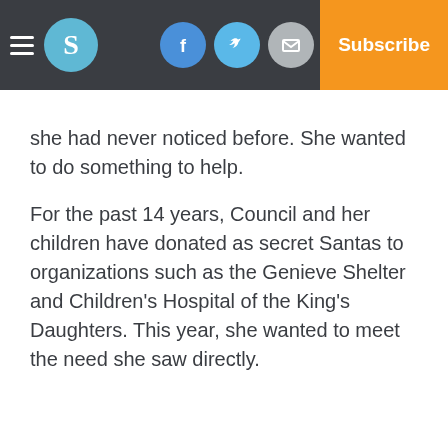Navigation bar with hamburger menu, S logo, Facebook, Twitter, Email icons, Log In, Subscribe
she had never noticed before. She wanted to do something to help.
For the past 14 years, Council and her children have donated as secret Santas to organizations such as the Genieve Shelter and Children's Hospital of the King's Daughters. This year, she wanted to meet the need she saw directly.